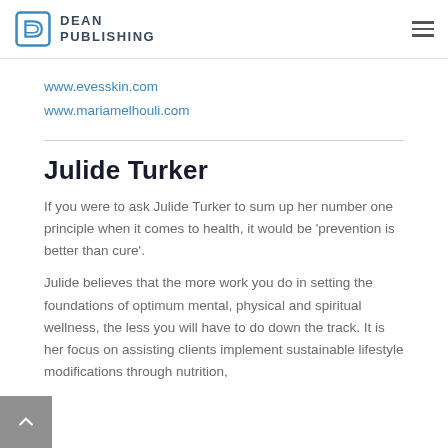DEAN PUBLISHING
www.evesskin.com
www.mariamelhouli.com
Julide Turker
If you were to ask Julide Turker to sum up her number one principle when it comes to health, it would be 'prevention is better than cure'.
Julide believes that the more work you do in setting the foundations of optimum mental, physical and spiritual wellness, the less you will have to do down the track. It is her focus on assisting clients implement sustainable lifestyle modifications through nutrition,